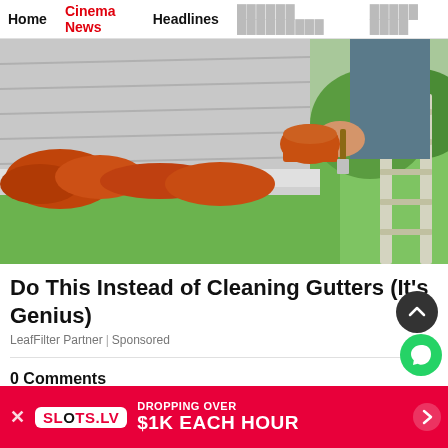Home | Cinema News | Headlines | [Latvian nav items]
[Figure (photo): Photo of a person on a ladder applying sealant/paint to a roof gutter, with a green lawn and trees visible in the background.]
Do This Instead of Cleaning Gutters (It's Genius)
LeafFilter Partner | Sponsored
0 Comments
SLOTS.LV DROPPING OVER $1K EACH HOUR